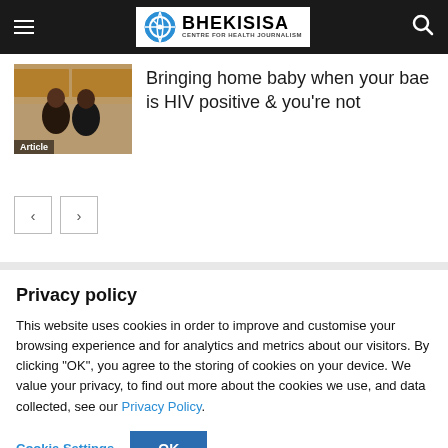Bhekisisa Centre for Health Journalism
[Figure (photo): Two people in a kitchen, wearing black hoodies, smiling. Label 'Article' overlaid at bottom left.]
Bringing home baby when your bae is HIV positive & you're not
< > pagination buttons
Privacy policy
This website uses cookies in order to improve and customise your browsing experience and for analytics and metrics about our visitors. By clicking "OK", you agree to the storing of cookies on your device. We value your privacy, to find out more about the cookies we use, and data collected, see our Privacy Policy.
Cookie Settings | OK